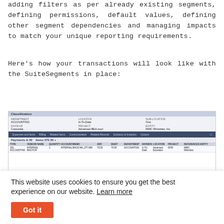adding filters as per already existing segments, defining permissions, default values, defining other segment dependencies and managing impacts to match your unique reporting requirements.
Here's how your transactions will look like with the SuiteSegments in place:
[Figure (screenshot): Screenshot of a SuiteSegments interface showing a Classification panel with fields like Department (ACCOUNTING), Division (Corporate), Location (In-To-Data), Project (Advanced BEA-nool), Sub-Location (One), Entity (MWC Ministries, Inc.), with tabs for Expenses and Items, Billing, Related Items, Communication, Related Records, Solutions & Analytics, Custom. Below shows a table with transaction rows including columns for type, vendor name, quantity, account, amount, debit, department, division, location, project, references, and entity.]
This website uses cookies to ensure you get the best experience on our website. Learn more
Got it